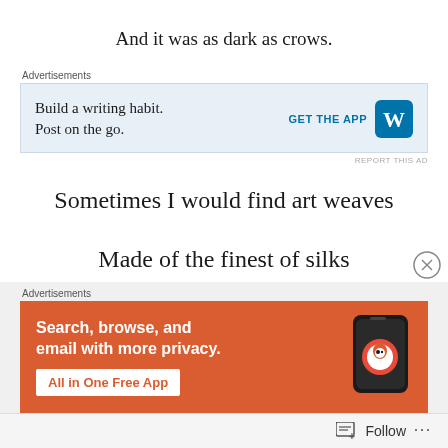And it was as dark as crows.
[Figure (other): WordPress advertisement: 'Build a writing habit. Post on the go.' with GET THE APP button and WordPress logo]
Sometimes I would find art weaves
Made of the finest of silks
[Figure (other): DuckDuckGo advertisement: 'Search, browse, and email with more privacy. All in One Free App' with duck logo and phone image]
Follow ...